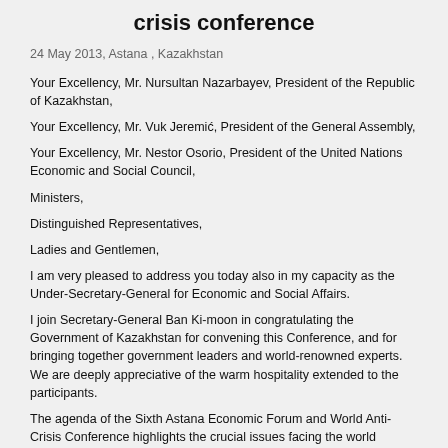crisis conference
24 May 2013, Astana , Kazakhstan
Your Excellency, Mr. Nursultan Nazarbayev, President of the Republic of Kazakhstan,
Your Excellency, Mr. Vuk Jeremić, President of the General Assembly,
Your Excellency, Mr. Nestor Osorio, President of the United Nations Economic and Social Council,
Ministers,
Distinguished Representatives,
Ladies and Gentlemen,
I am very pleased to address you today also in my capacity as the Under-Secretary-General for Economic and Social Affairs.
I join Secretary-General Ban Ki-moon in congratulating the Government of Kazakhstan for convening this Conference, and for bringing together government leaders and world-renowned experts.  We are deeply appreciative of the warm hospitality extended to the participants.
The agenda of the Sixth Astana Economic Forum and World Anti-Crisis Conference highlights the crucial issues facing the world economy today, nearly five years after the global financial crisis.